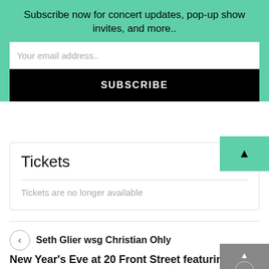Subscribe now for concert updates, pop-up show invites, and more..
Your email address..
SUBSCRIBE
Tickets
Tickets are no longer available
Seth Glier wsg Christian Ohly
New Year's Eve at 20 Front Street featuring The Gasoline Gypsies wsg The Keynote Sisters